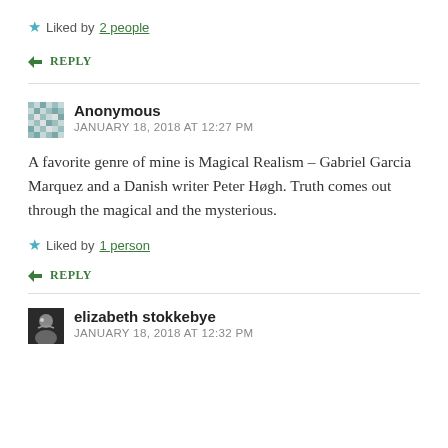★ Liked by 2 people
↳ REPLY
Anonymous
JANUARY 18, 2018 AT 12:27 PM
A favorite genre of mine is Magical Realism – Gabriel Garcia Marquez and a Danish writer Peter Høgh. Truth comes out through the magical and the mysterious.
★ Liked by 1 person
↳ REPLY
elizabeth stokkebye
JANUARY 18, 2018 AT 12:32 PM